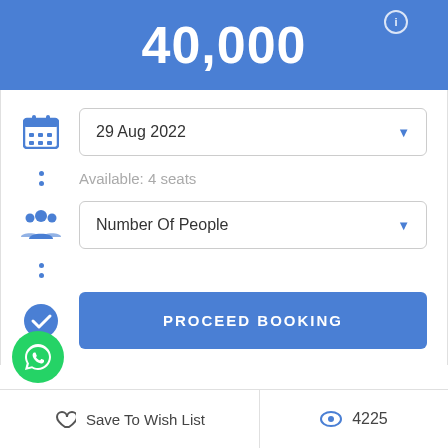40,000
29 Aug 2022
Available: 4 seats
Number Of People
PROCEED BOOKING
Save To Wish List
4225